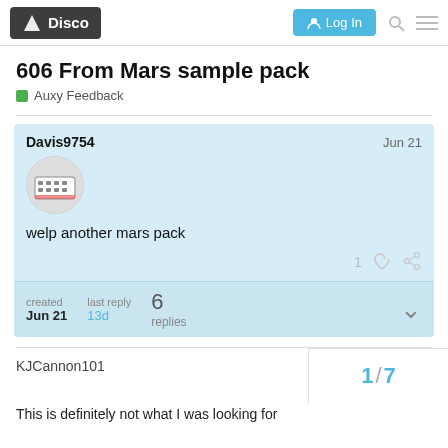Disco | Log In
606 From Mars sample pack
Auxy Feedback
Davis9754
Jun 21
welp another mars pack
1 ❤ 🔗
created Jun 21  last reply 13d  6 replies
KJCannon101  Jun 21
1 / 7
This is definitely not what I was looking for